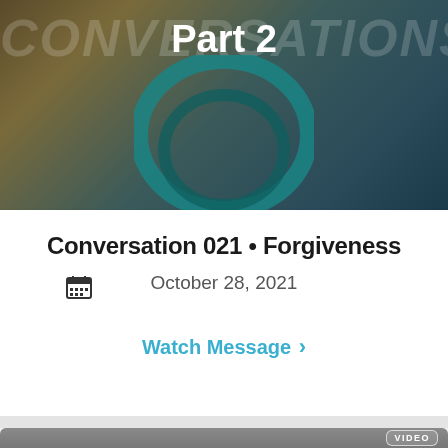[Figure (illustration): Top banner image with teal/dark background showing circular teal logo element, 'CONVERSATIONS' watermark text in background, and 'Part 2' title text overlaid in white bold]
Conversation 021 • Forgiveness
October 28, 2021
Watch Message >
[Figure (screenshot): Bottom dark gray video thumbnail section with 'VIDEO' badge in upper right corner]